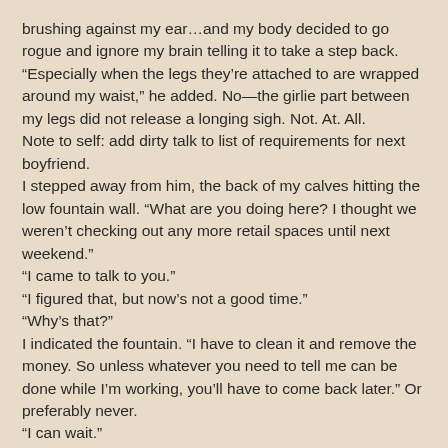brushing against my ear…and my body decided to go rogue and ignore my brain telling it to take a step back.
“Especially when the legs they’re attached to are wrapped around my waist,” he added. No—the girlie part between my legs did not release a longing sigh. Not. At. All.
Note to self: add dirty talk to list of requirements for next boyfriend.
I stepped away from him, the back of my calves hitting the low fountain wall. “What are you doing here? I thought we weren’t checking out any more retail spaces until next weekend.”
“I came to talk to you.”
“I figured that, but now’s not a good time.”
“Why’s that?”
I indicated the fountain. “I have to clean it and remove the money. So unless whatever you need to tell me can be done while I’m working, you’ll have to come back later.” Or preferably never.
“I can wait.”
Of course he could.
“Don’t you have to be at work or something?” I had no idea what he did for a living, but it probably didn’t involve hanging